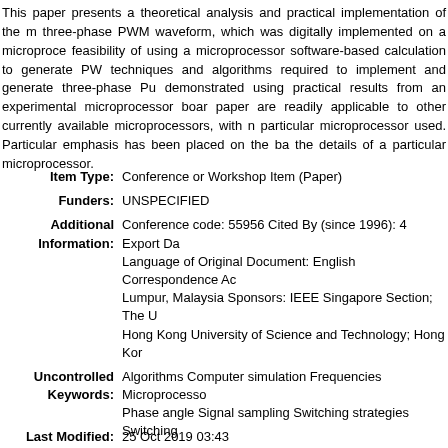This paper presents a theoretical analysis and practical implementation of the m three-phase PWM waveform, which was digitally implemented on a microproce feasibility of using a microprocessor software-based calculation to generate PW techniques and algorithms required to implement and generate three-phase Pu demonstrated using practical results from an experimental microprocessor boar paper are readily applicable to other currently available microprocessors, with n particular microprocessor used. Particular emphasis has been placed on the ba the details of a particular microprocessor.
| Field | Value |
| --- | --- |
| Item Type: | Conference or Workshop Item (Paper) |
| Funders: | UNSPECIFIED |
| Additional Information: | Conference code: 55956 Cited By (since 1996): 4 Export Da Language of Original Document: English Correspondence Ac Lumpur, Malaysia Sponsors: IEEE Singapore Section; The U Hong Kong University of Science and Technology; Hong Kor |
| Uncontrolled Keywords: | Algorithms Computer simulation Frequencies Microprocesso Phase angle Signal sampling Switching strategies Switching |
| Subjects: | T Technology > TA Engineering (General). Civil engineering ( T Technology > TK Electrical engineering. Electronics Nuclea |
| Divisions: | Faculty of Engineering |
| Depositing User: | Mr Jenal S |
| Date Deposited: | 27 Feb 2013 01:22 |
| Last Modified: | 25 Oct 2019 03:43 |